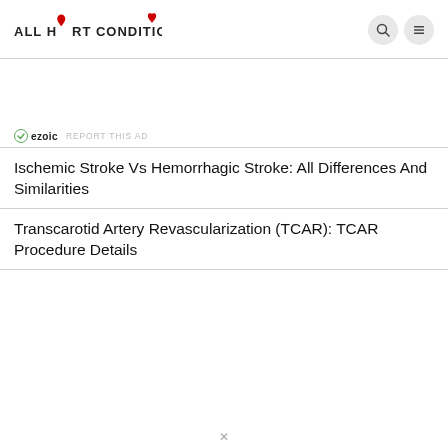ALL HEART CONDITIONS
[Figure (logo): All Heart Conditions logo with a red heart icon and bold uppercase text]
REPORT THIS AD
Ischemic Stroke Vs Hemorrhagic Stroke: All Differences And Similarities
Transcarotid Artery Revascularization (TCAR): TCAR Procedure Details